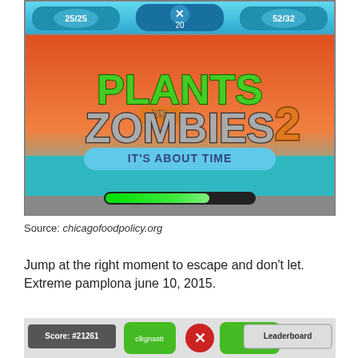[Figure (screenshot): Screenshot of Plants vs. Zombies 2: It's About Time mobile game showing the game's title screen with plant and zombie characters, and a progress bar at the bottom. The top shows three character slots with counts 25/25, 20 (with X), and 52/32.]
Source: chicagofoodpolicy.org
Jump at the right moment to escape and don't let. Extreme pamplona june 10, 2015.
[Figure (screenshot): Partial screenshot of a game interface showing Score: #21261, green buttons, an X button, and a Leaderboard button.]